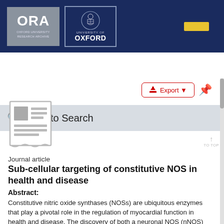[Figure (logo): ORA Oxford University Research Archive logo and University of Oxford crest logo on dark navy background header]
Back to Search
Export
[Figure (illustration): Journal article document icon - grey newspaper/article icon]
Journal article
Sub-cellular targeting of constitutive NOS in health and disease
Abstract:
Constitutive nitric oxide synthases (NOSs) are ubiquitous enzymes that play a pivotal role in the regulation of myocardial function in health and disease. The discovery of both a neuronal NOS (nNOS) and an endothelial NOS (eNOS) isoform in the myocardium and